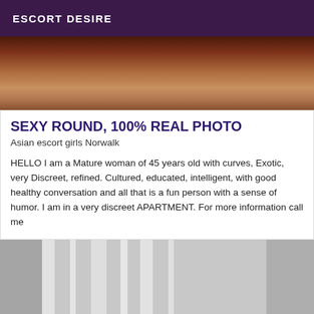ESCORT DESIRE
[Figure (photo): Close-up photo of a person in dark reddish clothing]
SEXY ROUND, 100% REAL PHOTO
Asian escort girls Norwalk
HELLO I am a Mature woman of 45 years old with curves, Exotic, very Discreet, refined. Cultured, educated, intelligent, with good healthy conversation and all that is a fun person with a sense of humor. I am in a very discreet APARTMENT. For more information call me
[Figure (photo): Close-up photo of chrome/metallic equipment or fixtures]